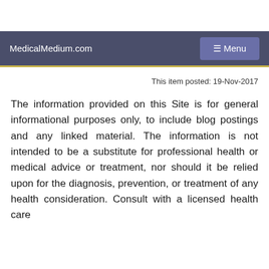MedicalMedium.com   ☰ Menu
This item posted: 19-Nov-2017
The information provided on this Site is for general informational purposes only, to include blog postings and any linked material. The information is not intended to be a substitute for professional health or medical advice or treatment, nor should it be relied upon for the diagnosis, prevention, or treatment of any health consideration. Consult with a licensed health care practitioner before altering or discontinuing any...